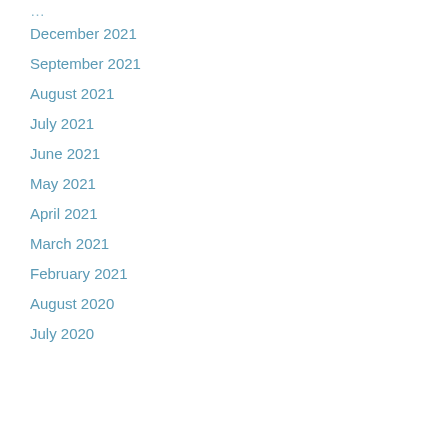December 2021
September 2021
August 2021
July 2021
June 2021
May 2021
April 2021
March 2021
February 2021
August 2020
July 2020